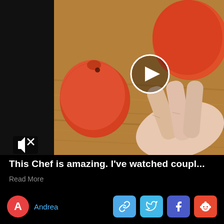[Figure (photo): Video thumbnail showing hands holding orange/red round fruits (possibly persimmons or tomatoes) on a wooden surface, with a circular white play button overlay in the center and a mute icon in the bottom left]
This Chef is amazing. I've watched coupl...
Read More
Andrea
[Figure (infographic): Row of four share buttons: link/chain icon (light blue), Twitter bird icon (sky blue), Facebook f icon (dark blue/purple), Reddit alien icon (orange-red)]